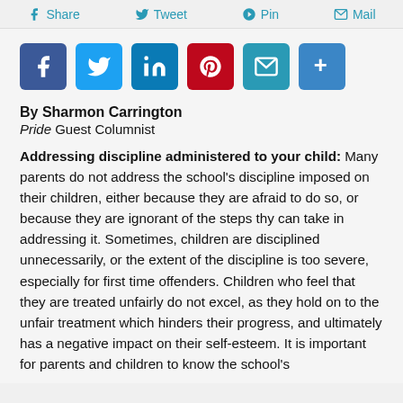Share  Tweet  Pin  Mail
[Figure (infographic): Row of social media sharing buttons: Facebook, Twitter, LinkedIn, Pinterest, Mail, More (+)]
By Sharmon Carrington
Pride Guest Columnist
Addressing discipline administered to your child:  Many parents do not address the school's discipline imposed on their children, either because they are afraid to do so, or because they are ignorant of the steps thy can take in addressing it.  Sometimes, children are disciplined unnecessarily, or the extent of the discipline is too severe, especially for first time offenders.  Children who feel that they are treated unfairly do not excel, as they hold on to the unfair treatment which hinders their progress, and ultimately has a negative impact on their self-esteem. It is important for parents and children to know the school's